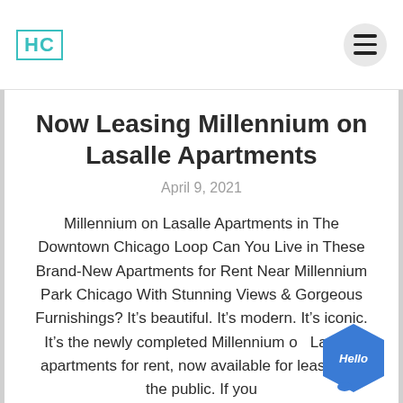HC
Now Leasing Millennium on Lasalle Apartments
April 9, 2021
Millennium on Lasalle Apartments in The Downtown Chicago Loop Can You Live in These Brand-New Apartments for Rent Near Millennium Park Chicago With Stunning Views & Gorgeous Furnishings? It’s beautiful. It’s modern. It’s iconic. It’s the newly completed Millennium on Lasalle apartments for rent, now available for leasing to the public. If you